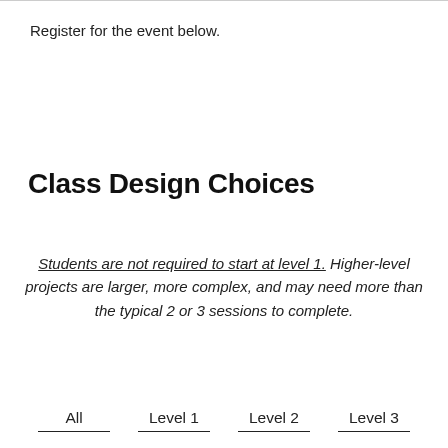Register for the event below.
Class Design Choices
Students are not required to start at level 1. Higher-level projects are larger, more complex, and may need more than the typical 2 or 3 sessions to complete.
All
Level 1
Level 2
Level 3